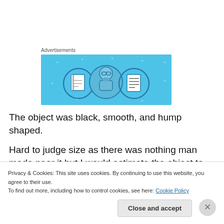Advertisements
[Figure (illustration): Advertisement banner with light blue background showing illustrated icons: a notebook, a person with glasses, and a document/list icon]
The object was black, smooth, and hump shaped.
Hard to judge size as there was nothing man made near it but I would estimate the object to be approximately 4' long
Privacy & Cookies: This site uses cookies. By continuing to use this website, you agree to their use.
To find out more, including how to control cookies, see here: Cookie Policy
Close and accept